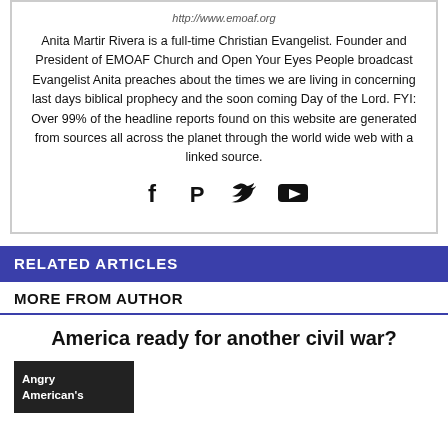http://www.emoaf.org
Anita Martir Rivera is a full-time Christian Evangelist. Founder and President of EMOAF Church and Open Your Eyes People broadcast Evangelist Anita preaches about the times we are living in concerning last days biblical prophecy and the soon coming Day of the Lord. FYI: Over 99% of the headline reports found on this website are generated from sources all across the planet through the world wide web with a linked source.
[Figure (other): Social media icons: Facebook, PayPal, Twitter, YouTube]
RELATED ARTICLES
MORE FROM AUTHOR
America ready for another civil war?
[Figure (other): Thumbnail image with text: Angry American's]